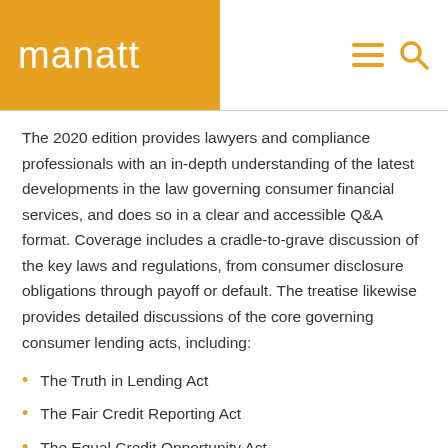manatt
The 2020 edition provides lawyers and compliance professionals with an in-depth understanding of the latest developments in the law governing consumer financial services, and does so in a clear and accessible Q&A format. Coverage includes a cradle-to-grave discussion of the key laws and regulations, from consumer disclosure obligations through payoff or default. The treatise likewise provides detailed discussions of the core governing consumer lending acts, including:
The Truth in Lending Act
The Fair Credit Reporting Act
The Equal Credit Opportunity Act